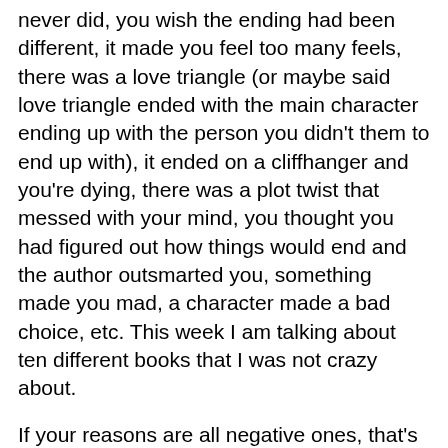never did, you wish the ending had been different, it made you feel too many feels, there was a love triangle (or maybe said love triangle ended with the main character ending up with the person you didn't them to end up with), it ended on a cliffhanger and you're dying, there was a plot twist that messed with your mind, you thought you had figured out how things would end and the author outsmarted you, something made you mad, a character made a bad choice, etc. This week I am talking about ten different books that I was not crazy about.
If your reasons are all negative ones, that's ok! We're allowed to not like books! Lately, I have been reading a lot of two-star books that I have not been crazy about. Just because I did not necessarily like these books that does not mean that you won't. We all have different reading tastes and that is the beautiful thing about reading.... we all have different opinions. I am by no means attacking the authors of these books. My opinions are my own. I applaud anyone for writing a book period. For the longest time, I would not allow myself to DNF a book. I made it a mission to finish all books but now I simply do not put that pressure on myself. If I am not enjoying something that badly, I have no problem putting